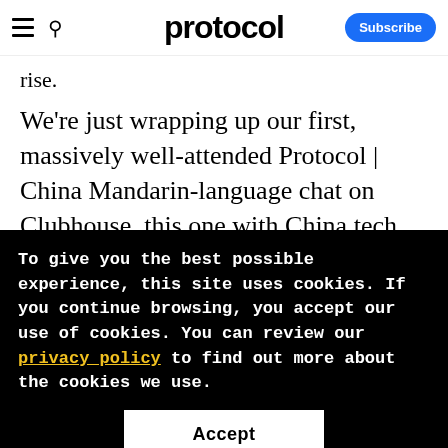protocol
rise.
We're just wrapping up our first, massively well-attended Protocol | China Mandarin-language chat on Clubhouse, this one with China tech insiders discussing the big stories English-language tech media is missing. TL;DR: a lot. We can't tell you more, since it
To give you the best possible experience, this site uses cookies. If you continue browsing, you accept our use of cookies. You can review our privacy policy to find out more about the cookies we use.
Accept